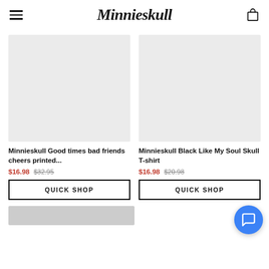Minnieskull
[Figure (photo): Product image placeholder - light gray rectangle for first t-shirt product]
[Figure (photo): Product image placeholder - light gray rectangle for second t-shirt product]
Minnieskull Good times bad friends cheers printed...
$16.98  $32.95
QUICK SHOP
Minnieskull Black Like My Soul Skull T-shirt
$16.98  $20.98
QUICK SHOP
[Figure (photo): Partial product image visible at very bottom of page]